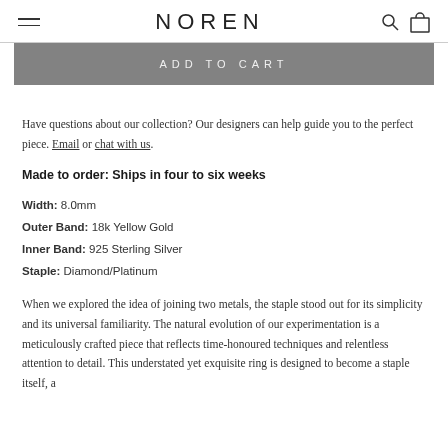NOREN
[Figure (screenshot): Add to cart button bar, grey background with text ADD TO CART in spaced capital letters]
Have questions about our collection? Our designers can help guide you to the perfect piece. Email or chat with us.
Made to order: Ships in four to six weeks
Width: 8.0mm
Outer Band: 18k Yellow Gold
Inner Band: 925 Sterling Silver
Staple: Diamond/Platinum
When we explored the idea of joining two metals, the staple stood out for its simplicity and its universal familiarity. The natural evolution of our experimentation is a meticulously crafted piece that reflects time-honoured techniques and relentless attention to detail. This understated yet exquisite ring is designed to become a staple itself, a